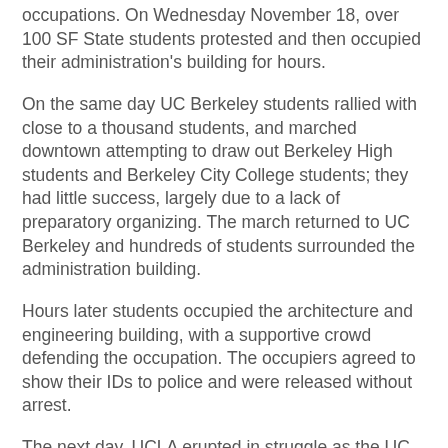occupations. On Wednesday November 18, over 100 SF State students protested and then occupied their administration's building for hours.
On the same day UC Berkeley students rallied with close to a thousand students, and marched downtown attempting to draw out Berkeley High students and Berkeley City College students; they had little success, largely due to a lack of preparatory organizing. The march returned to UC Berkeley and hundreds of students surrounded the administration building.
Hours later students occupied the architecture and engineering building, with a supportive crowd defending the occupation. The occupiers agreed to show their IDs to police and were released without arrest.
The next day, UCLA erupted in struggle as the UC regents